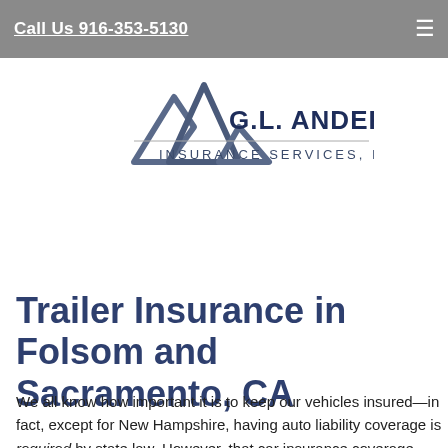Call Us 916-353-5130
[Figure (logo): G.L. Anderson Insurance Services, Inc. logo with stylized mountain peaks icon in dark blue-gray and the company name in navy text]
Trailer Insurance in Folsom and Sacramento, CA
We all know how important it is to keep our vehicles insured—in fact, except for New Hampshire, having auto liability coverage is required by state law. However, that car insurance coverage also ultimately comes to protect the adults and children...